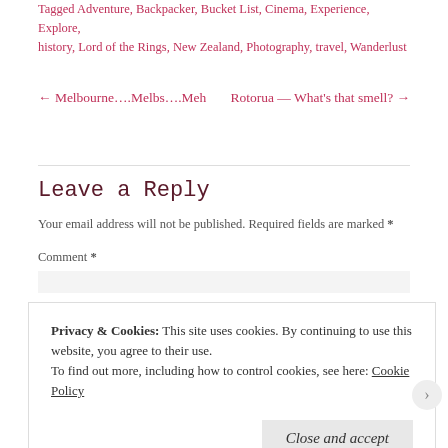Tagged Adventure, Backpacker, Bucket List, Cinema, Experience, Explore, history, Lord of the Rings, New Zealand, Photography, travel, Wanderlust
← Melbourne….Melbs….Meh   Rotorua — What's that smell? →
Leave a Reply
Your email address will not be published. Required fields are marked *
Comment *
Privacy & Cookies: This site uses cookies. By continuing to use this website, you agree to their use. To find out more, including how to control cookies, see here: Cookie Policy
Close and accept